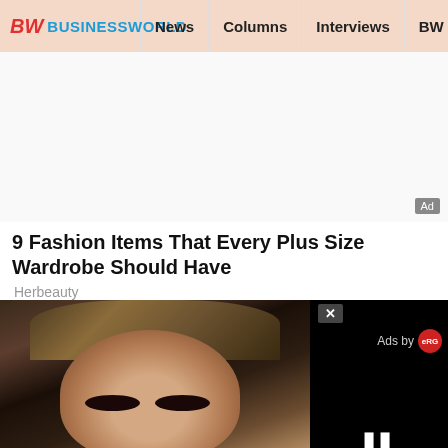BW BUSINESSWORLD | News | Columns | Interviews | BW
[Figure (other): Advertisement banner area (blank/white space with Ad label)]
9 Fashion Items That Every Plus Size Wardrobe Should Have
Herbeauty
[Figure (photo): Photo of a woman with dark hair in a scarf/headwrap, dramatic eye makeup, looking at camera. A video overlay panel is shown on the right side with an X close button, 'Ads by' label with eRG logo, black video area, and a pause button at the bottom.]